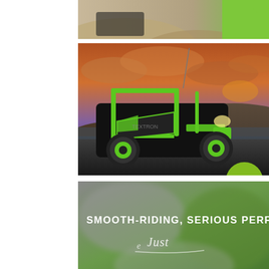[Figure (photo): Top cropped image strip showing sand dunes with green accent on right side]
[Figure (photo): Off-road UTV/side-by-side vehicle with green and black color scheme parked on dark terrain with dramatic sunset sky in background. A green circular hamburger menu button overlays the right side.]
[Figure (photo): Blurred green and grey bokeh background with bold white text reading 'SMOOTH-RIDING, SERIOUS PERFORMANCE' and a cursive 'Just' logo/watermark below]